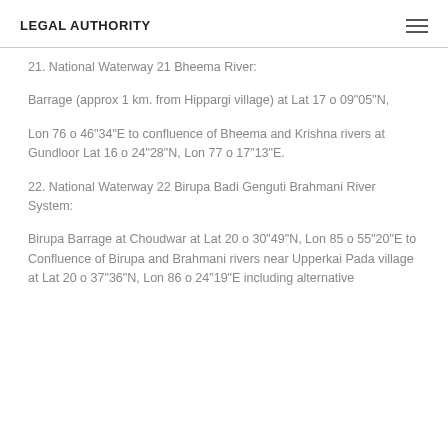LEGAL AUTHORITY
21. National Waterway 21 Bheema River:
Barrage (approx 1 km. from Hippargi village) at Lat 17 o 09"05"N,
Lon 76 o 46"34"E to confluence of Bheema and Krishna rivers at Gundloor Lat 16 o 24"28"N, Lon 77 o 17"13"E.
22. National Waterway 22 Birupa Badi Genguti Brahmani River System:
Birupa Barrage at Choudwar at Lat 20 o 30"49"N, Lon 85 o 55"20"E to Confluence of Birupa and Brahmani rivers near Upperkai Pada village at Lat 20 o 37"36"N, Lon 86 o 24"19"E including alternative